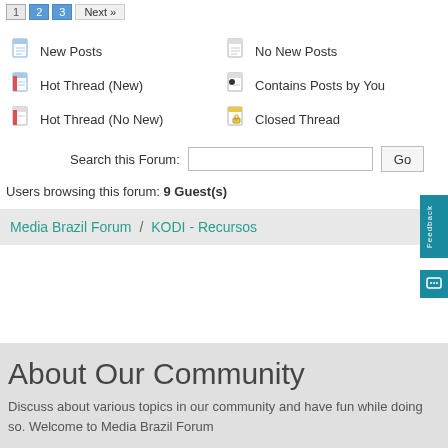New Posts
No New Posts
Hot Thread (New)
Contains Posts by You
Hot Thread (No New)
Closed Thread
Search this Forum:
Users browsing this forum: 9 Guest(s)
Media Brazil Forum / KODI - Recursos
About Our Community
Discuss about various topics in our community and have fun while doing so. Welcome to Media Brazil Forum